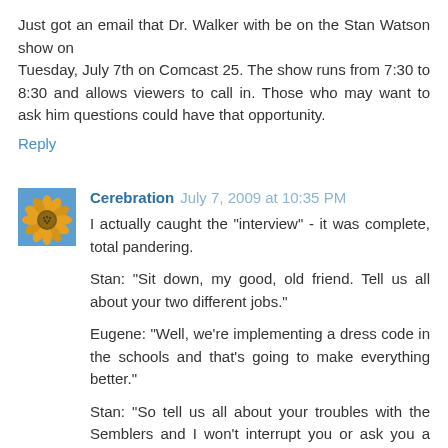Just got an email that Dr. Walker with be on the Stan Watson show on Tuesday, July 7th on Comcast 25. The show runs from 7:30 to 8:30 and allows viewers to call in. Those who may want to ask him questions could have that opportunity.
Reply
[Figure (photo): Avatar image showing a sunflower against a blue sky background]
Cerebration  July 7, 2009 at 10:35 PM
I actually caught the "interview" - it was complete, total pandering.

Stan: "Sit down, my good, old friend. Tell us all about your two different jobs."

Eugene: "Well, we're implementing a dress code in the schools and that's going to make everything better."

Stan: "So tell us all about your troubles with the Semblers and I won't interrupt you or ask you a single tough question."